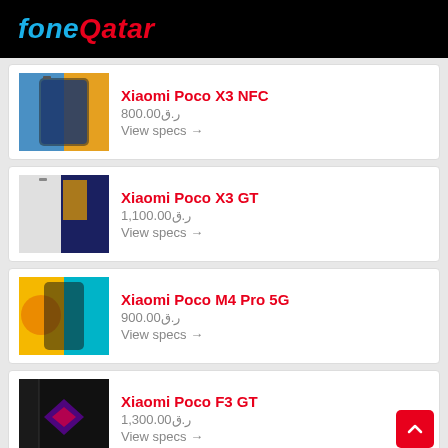foneQatar
Xiaomi Poco X3 NFC
ر.ق800.00
View specs →
Xiaomi Poco X3 GT
ر.ق1,100.00
View specs →
Xiaomi Poco M4 Pro 5G
ر.ق900.00
View specs →
Xiaomi Poco F3 GT
ر.ق1,300.00
View specs →